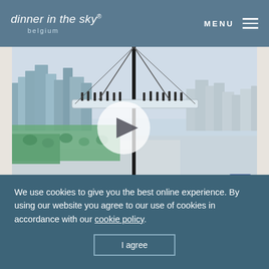dinner in the sky® belgium | MENU
[Figure (photo): Aerial view of Dinner in the Sky event suspended over a coastal city skyline with skyscrapers, beach, and waterfront. A play button overlay indicates this is a video thumbnail. Facebook icon in bottom right corner. Caption: Posted by Dinner in the Sky Belgium]
Posted by Dinner in the Sky Belgium
10 YEARS ANNIVERSARY
We use cookies to give you the best online experience. By using our website you agree to our use of cookies in accordance with our cookie policy.
I agree